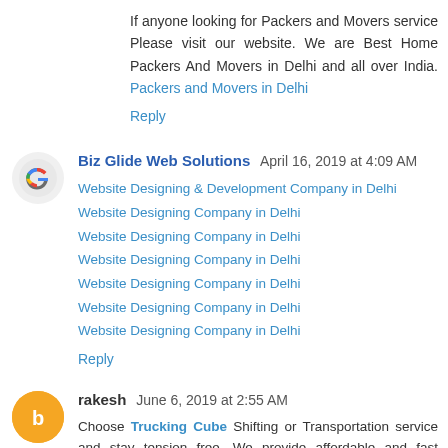If anyone looking for Packers and Movers service Please visit our website. We are Best Home Packers And Movers in Delhi and all over India. Packers and Movers in Delhi
Reply
Biz Glide Web Solutions April 16, 2019 at 4:09 AM
Website Designing & Development Company in Delhi
Website Designing Company in Delhi
Website Designing Company in Delhi
Website Designing Company in Delhi
Website Designing Company in Delhi
Website Designing Company in Delhi
Website Designing Company in Delhi
Reply
rakesh June 6, 2019 at 2:55 AM
Choose Trucking Cube Shifting or Transportation service and stay tension free. We provide affordable and fast packing and moving services. Pick our service one time we...